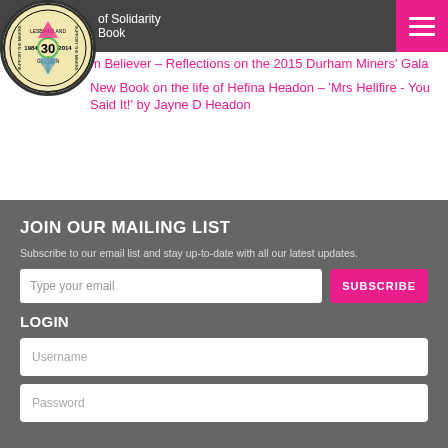of Solidarity Book
m Believer – Reflections on the 2015 Durham Miners' Gala
New Book on the life of Hefina Headon – 'Mrs Hellfire - You Said It!' by Jayne D Headon
JOIN OUR MAILING LIST
Subscribe to our email list and stay up-to-date with all our latest updates.
LOGIN